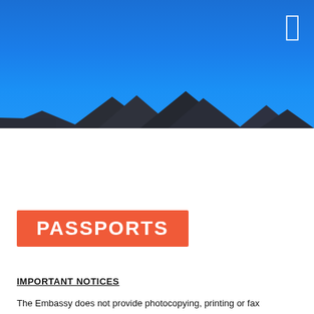[Figure (photo): Mountain landscape with dark rocky peaks silhouetted against a vivid blue sky]
PASSPORTS
IMPORTANT NOTICES
The Embassy does not provide photocopying, printing or fax